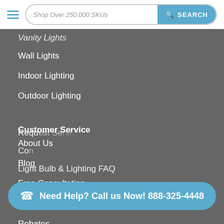Shop Over 250,000 SKUs  SEARCH
Vanity Lights
Wall Lights
Indoor Lighting
Outdoor Lighting
Customer Service
About Us
Blog
Free Consultation
Energy Savings Calculator
Rebates
Account Login/Signup
Request Service
Contact
Light Bulb & Lighting FAQ
Need Help? Call us Now! 888-325-4448